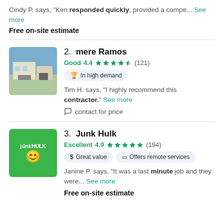Cindy P. says, "Ken responded quickly, provided a compe... See more"
Free on-site estimate
2. mere Ramos
Good 4.4 ★★★★½ (121)
In high demand
Tim H. says, "I highly recommend this contractor." See more
contact for price
3. Junk Hulk
Excellent 4.9 ★★★★★ (194)
Great value  Offers remote services
Janine P. says, "It was a last minute job and they were... See more
Free on-site estimate